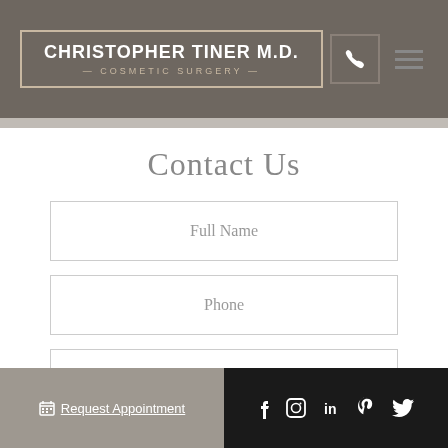CHRISTOPHER TINER M.D. COSMETIC SURGERY
Contact Us
Full Name
Phone
Email
How may we help you?
Request Appointment | f | in | p | Twitter